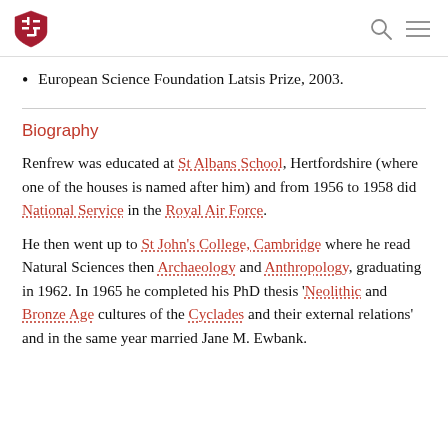Harvard shield logo with search and menu icons
European Science Foundation Latsis Prize, 2003.
Biography
Renfrew was educated at St Albans School, Hertfordshire (where one of the houses is named after him) and from 1956 to 1958 did National Service in the Royal Air Force.
He then went up to St John's College, Cambridge where he read Natural Sciences then Archaeology and Anthropology, graduating in 1962. In 1965 he completed his PhD thesis 'Neolithic and Bronze Age cultures of the Cyclades and their external relations' and in the same year married Jane M. Ewbank.